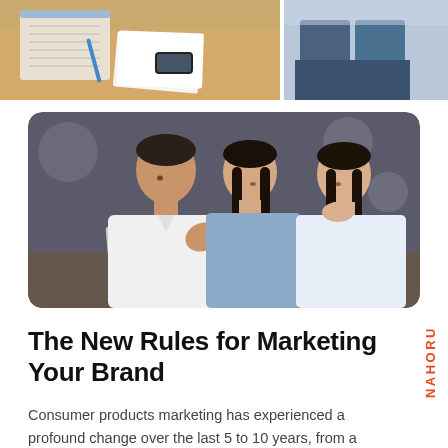[Figure (photo): Two cropped photos side by side at top: left shows a desk with notebooks, papers, and a smartphone; right shows a person in jeans sitting cross-legged.]
[Figure (photo): Three business people (one man in white shirt and two women) looking at a laptop together in an office setting, rounded corners.]
The New Rules for Marketing Your Brand
Consumer products marketing has experienced a profound change over the last 5 to 10 years, from a